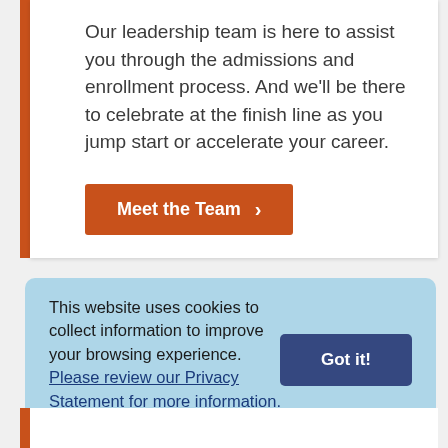Our leadership team is here to assist you through the admissions and enrollment process. And we'll be there to celebrate at the finish line as you jump start or accelerate your career.
Meet the Team ›
This website uses cookies to collect information to improve your browsing experience. Please review our Privacy Statement for more information.
Got it!
residencies, most meals while on campus, and